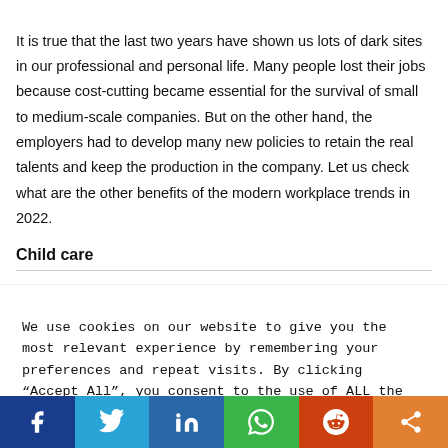It is true that the last two years have shown us lots of dark sites in our professional and personal life. Many people lost their jobs because cost-cutting became essential for the survival of small to medium-scale companies. But on the other hand, the employers had to develop many new policies to retain the real talents and keep the production in the company. Let us check what are the other benefits of the modern workplace trends in 2022.
Child care
We use cookies on our website to give you the most relevant experience by remembering your preferences and repeat visits. By clicking “Accept All”, you consent to the use of ALL the cookies. However, you may visit "Cookie Settings" to provide a controlled consent.